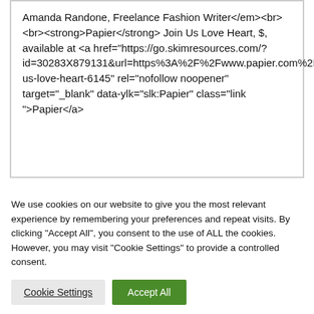Amanda Randone, Freelance Fashion Writer</em><br><br><strong>Papier</strong> Join Us Love Heart, $, available at <a href="https://go.skimresources.com/?id=30283X879131&url=https%3A%2F%2Fwww.papier.com%2Fus%2Fjoin-us-love-heart-6145" rel="nofollow noopener" target="_blank" data-ylk="slk:Papier" class="link ">Papier</a>
We use cookies on our website to give you the most relevant experience by remembering your preferences and repeat visits. By clicking "Accept All", you consent to the use of ALL the cookies. However, you may visit "Cookie Settings" to provide a controlled consent.
Cookie Settings | Accept All